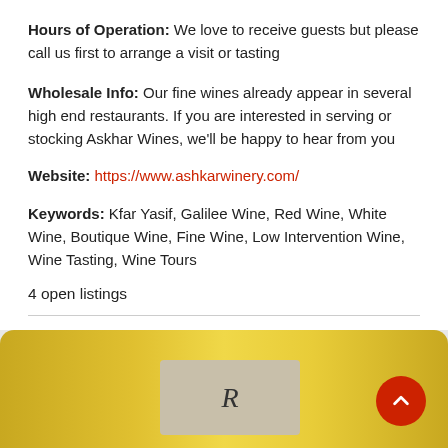Hours of Operation: We love to receive guests but please call us first to arrange a visit or tasting
Wholesale Info: Our fine wines already appear in several high end restaurants. If you are interested in serving or stocking Askhar Wines, we'll be happy to hear from you
Website: https://www.ashkarwinery.com/
Keywords: Kfar Yasif, Galilee Wine, Red Wine, White Wine, Boutique Wine, Fine Wine, Low Intervention Wine, Wine Tasting, Wine Tours
4 open listings
[Figure (photo): Close-up photo of a wine bottle with a gold/yellow label, showing the letter R on the label]